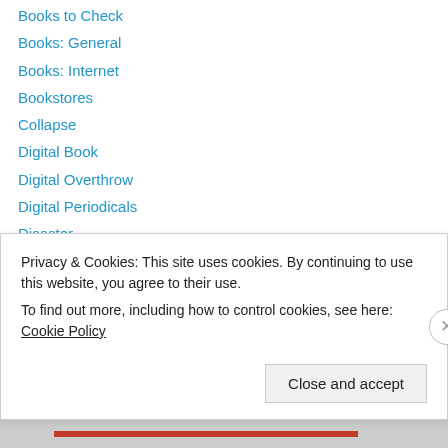Books to Check
Books: General
Books: Internet
Bookstores
Collapse
Digital Book
Digital Overthrow
Digital Periodicals
Disaster
eBooks: General
eBooks: Screens
eInk Devices
Fraud
Free Ain't
Privacy & Cookies: This site uses cookies. By continuing to use this website, you agree to their use. To find out more, including how to control cookies, see here: Cookie Policy
Close and accept